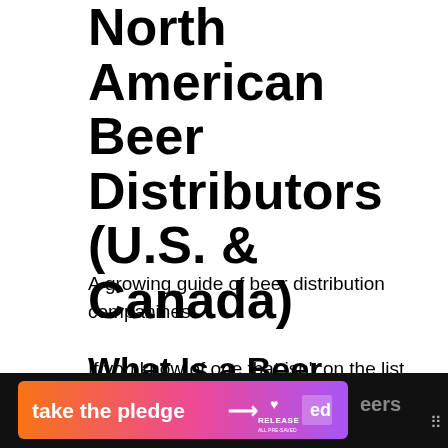North American Beer Distributors (U.S. & Canada)
A growing guide of beer distribution companines.
If you know of one that isn't on the list, let us know and we will add it, whether they are based out of Asheville or distributing from the Zion Brewery in Zion National Park.
What Is a Beer Distributor?
[Figure (infographic): Advertisement banner: orange-to-pink gradient with 'take the pledge' text and arrow, Release logo, and other brand icons on dark background]